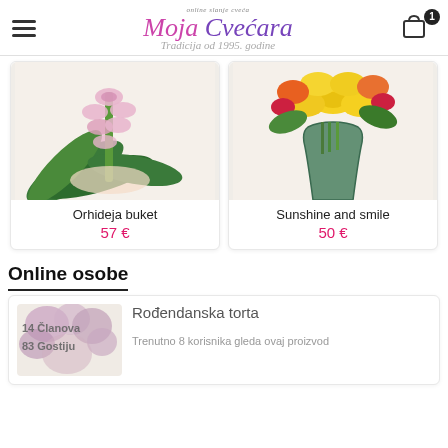Moja Cvećara — online slanje cveća — Tradicija od 1995. godine
[Figure (photo): Orchid bouquet with pink cymbidium orchids and green palm leaves laid flat]
Orhideja buket
57 €
[Figure (photo): Sunshine and smile bouquet with yellow lilies and mixed colorful flowers in a glass vase]
Sunshine and smile
50 €
Online osobe
[Figure (photo): Birthday cake with flowers overlay showing 14 Članova and 83 Gostiju text]
Rođendanska torta
Trenutno 8 korisnika gleda ovaj proizvod